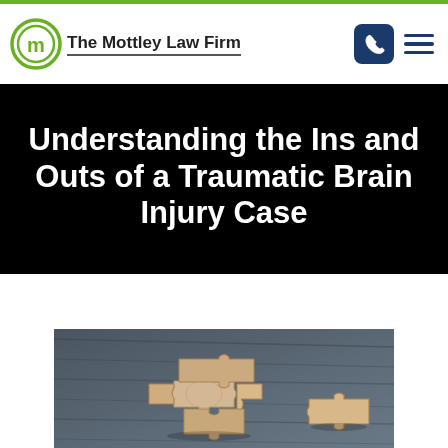The Mottley Law Firm
Understanding the Ins and Outs of a Traumatic Brain Injury Case
[Figure (photo): Wooden puzzle pieces on a dark textured surface, with some pieces fitting together and one piece separated, symbolizing a brain puzzle or case analysis.]